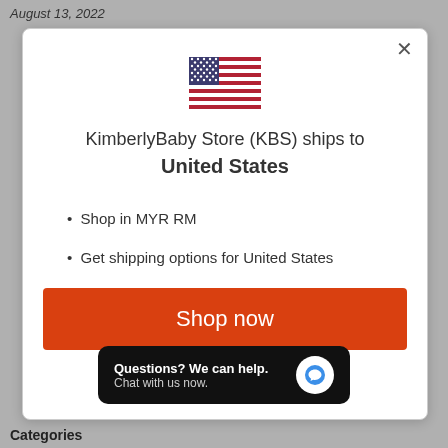August 13, 2022
[Figure (illustration): US flag icon]
KimberlyBaby Store (KBS) ships to United States
Shop in MYR RM
Get shipping options for United States
Shop now
[Figure (screenshot): Chat widget: Questions? We can help. Chat with us now.]
Categories